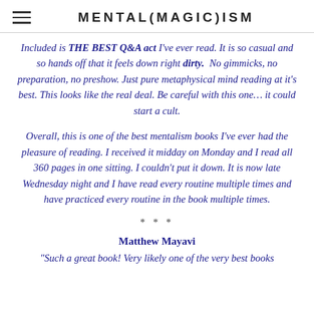MENTAL(MAGIC)ISM
Included is THE BEST Q&A act I've ever read. It is so casual and so hands off that it feels down right dirty.  No gimmicks, no preparation, no preshow. Just pure metaphysical mind reading at it's best. This looks like the real deal. Be careful with this one… it could start a cult.
Overall, this is one of the best mentalism books I've ever had the pleasure of reading. I received it midday on Monday and I read all 360 pages in one sitting. I couldn't put it down. It is now late Wednesday night and I have read every routine multiple times and have practiced every routine in the book multiple times.
* * *
Matthew Mayavi
"Such a great book! Very likely one of the very best books